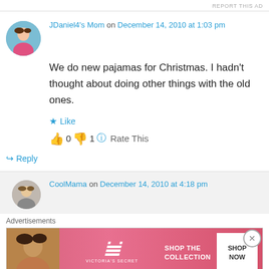REPORT THIS AD
[Figure (photo): Avatar photo of JDaniel4's Mom - woman in pink top]
JDaniel4's Mom on December 14, 2010 at 1:03 pm
We do new pajamas for Christmas. I hadn't thought about doing other things with the old ones.
★ Like
👍 0 👎 1 ℹ Rate This
↪ Reply
[Figure (photo): Avatar photo of CoolMama - woman]
CoolMama on December 14, 2010 at 4:18 pm
Advertisements
[Figure (illustration): Victoria's Secret advertisement banner with model and shop the collection text]